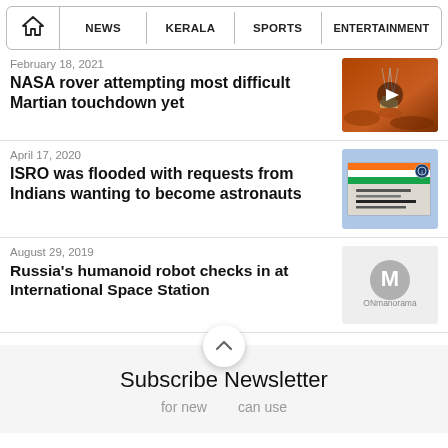HOME | NEWS | KERALA | SPORTS | ENTERTAINMENT
February 18, 2021
NASA rover attempting most difficult Martian touchdown yet
[Figure (photo): Mars surface thumbnail with video play button overlay]
April 17, 2020
ISRO was flooded with requests from Indians wanting to become astronauts
[Figure (photo): Human Space Flight Centre / Gaganyaan Project sign board]
August 29, 2019
Russia's humanoid robot checks in at International Space Station
[Figure (logo): ONmanorama logo placeholder grey background]
Subscribe Newsletter
for new  can use